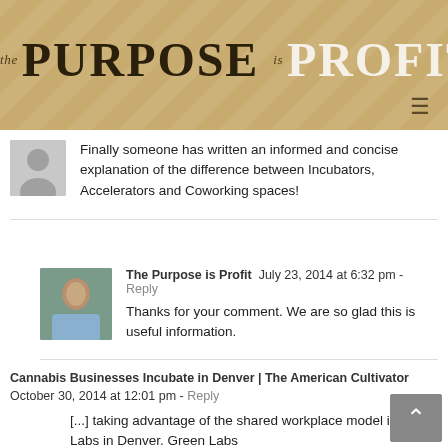THE PURPOSE IS PROFIT
Finally someone has written an informed and concise explanation of the difference between Incubators, Accelerators and Coworking spaces!
The Purpose is Profit  July 23, 2014 at 6:32 pm - Reply
Thanks for your comment. We are so glad this is useful information.
Cannabis Businesses Incubate in Denver | The American Cultivator  October 30, 2014 at 12:01 pm - Reply
[...] taking advantage of the shared workplace model is Green Labs in Denver. Green Labs